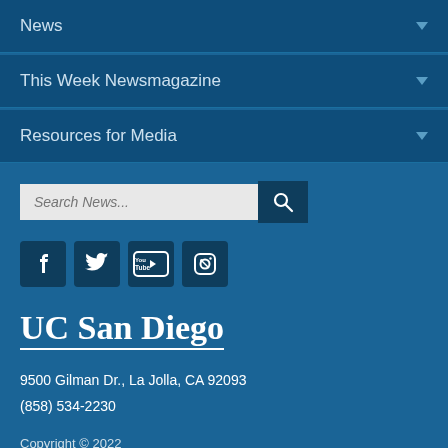News
This Week Newsmagazine
Resources for Media
Search News...
[Figure (illustration): Social media icons: Facebook, Twitter, YouTube, Instagram]
UC San Diego
9500 Gilman Dr., La Jolla, CA 92093
(858) 534-2230
Copyright © 2022
Regents of the University of California.
All rights reserved.